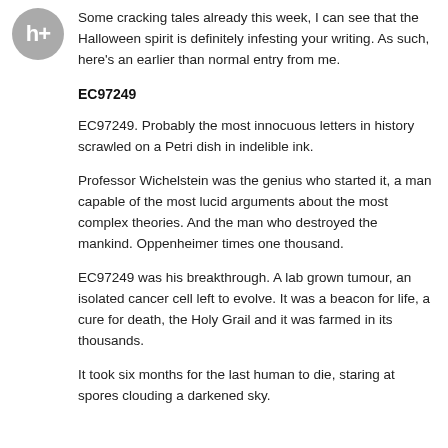[Figure (illustration): Circular avatar icon with stylized 'h+' text in white on grey background]
Some cracking tales already this week, I can see that the Halloween spirit is definitely infesting your writing. As such, here's an earlier than normal entry from me.
EC97249
EC97249. Probably the most innocuous letters in history scrawled on a Petri dish in indelible ink.
Professor Wichelstein was the genius who started it, a man capable of the most lucid arguments about the most complex theories. And the man who destroyed the mankind. Oppenheimer times one thousand.
EC97249 was his breakthrough. A lab grown tumour, an isolated cancer cell left to evolve. It was a beacon for life, a cure for death, the Holy Grail and it was farmed in its thousands.
It took six months for the last human to die, staring at spores clouding a darkened sky.